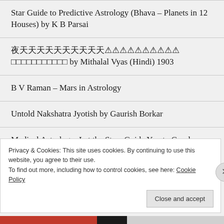Star Guide to Predictive Astrology (Bhava – Planets in 12 Houses) by K B Parsai
🀄🀄🀄🀄🀄🀄🀄🀄🀄🀄 by Mithalal Vyas (Hindi) 1903
B V Raman – Mars in Astrology
Untold Nakshatra Jyotish by Gaurish Borkar
Medical Astrology: Let the Stars Guide You to Good Health by Diane Cramer
Ganga Prasad – Perpetual Market Forecast and Business
Privacy & Cookies: This site uses cookies. By continuing to use this website, you agree to their use.
To find out more, including how to control cookies, see here: Cookie Policy
Close and accept